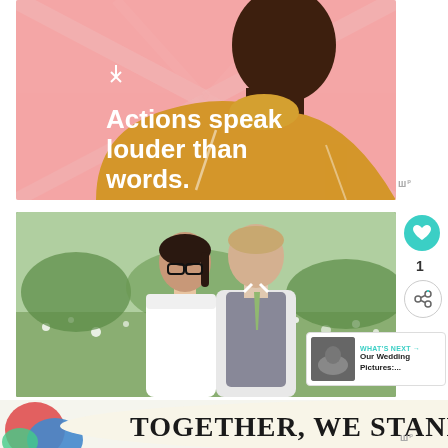[Figure (illustration): Illustrated graphic of a person in profile wearing a yellow turtleneck on a pink background with the quote 'Actions speak louder than words.' in white bold text.]
[Figure (photo): Wedding photo of a couple (woman in white dress with glasses, man in gray vest with green tie) standing in a flower field.]
1
WHAT'S NEXT → Our Wedding Pictures:...
[Figure (illustration): Advertisement banner with colorful shapes and text 'TOGETHER, WE STAND' in bold black serif font.]